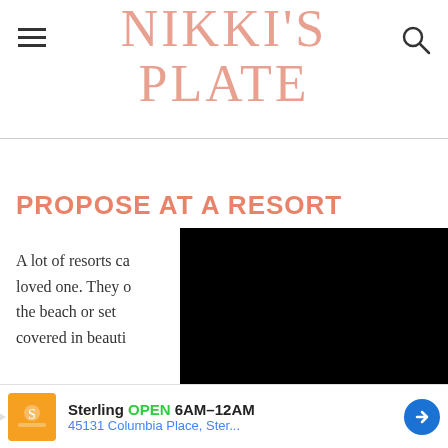NIKKI'S PLATE
PROPOSE AT A RESORT
A lot of resorts ca… loved one. They … the beach or set … covered in beauti…
[Figure (other): Black rectangle obscuring part of the article content (video or image placeholder)]
you a… call your … y
[Figure (other): Advertisement banner: Sterling OPEN 6AM-12AM, 45131 Columbia Place, Ster... with map arrow icon]